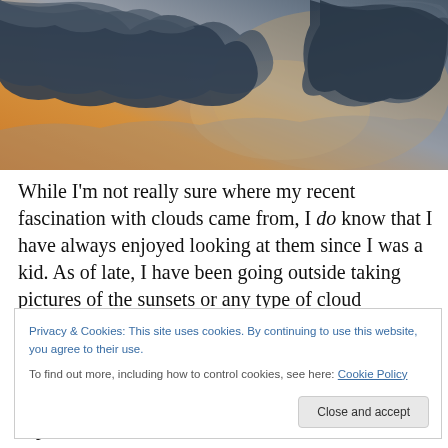[Figure (photo): Dramatic sky photograph showing large dark storm clouds against a warm orange/golden sunset background]
While I'm not really sure where my recent fascination with clouds came from, I do know that I have always enjoyed looking at them since I was a kid. As of late, I have been going outside taking pictures of the sunsets or any type of cloud formation that I find interesting around the
Privacy & Cookies: This site uses cookies. By continuing to use this website, you agree to their use.
To find out more, including how to control cookies, see here: Cookie Policy
[Close and accept]
capture God's creations in still form.